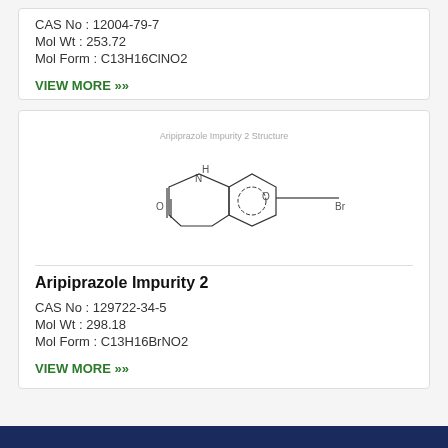CAS No : 12004-79-7
Mol Wt : 253.72
Mol Form : C13H16ClNO2
VIEW MORE »
[Figure (illustration): Chemical structure of Aripiprazole Impurity 2: a bicyclic lactam (3,4-dihydroquinolinone) with an oxygen-linked 4-bromobutyl chain at the 7-position]
Aripiprazole Impurity 2
CAS No : 129722-34-5
Mol Wt : 298.18
Mol Form : C13H16BrNO2
VIEW MORE »